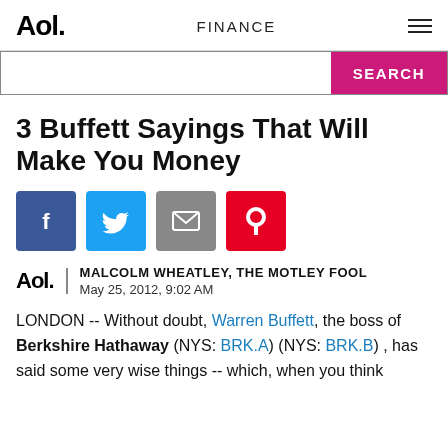Aol.  FINANCE  ☰
[Figure (screenshot): Search bar with pink SEARCH button]
3 Buffett Sayings That Will Make You Money
[Figure (infographic): Social sharing icons: Facebook (blue), Twitter (light blue), Email (grey), Pinterest (red)]
MALCOLM WHEATLEY, THE MOTLEY FOOL
May 25, 2012, 9:02 AM
LONDON -- Without doubt, Warren Buffett, the boss of Berkshire Hathaway (NYS: BRK.A) (NYS: BRK.B) , has said some very wise things -- which, when you think